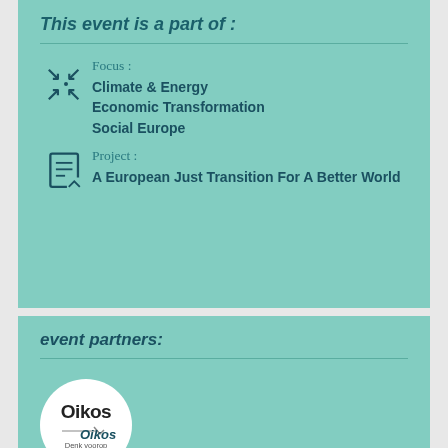This event is a part of :
Focus :
Climate & Energy
Economic Transformation
Social Europe
Project :
A European Just Transition For A Better World
event partners:
[Figure (logo): Oikos logo — white circle with Oikos text and 'Denk voorop' tagline with a checkmark/arrow graphic]
Oikos